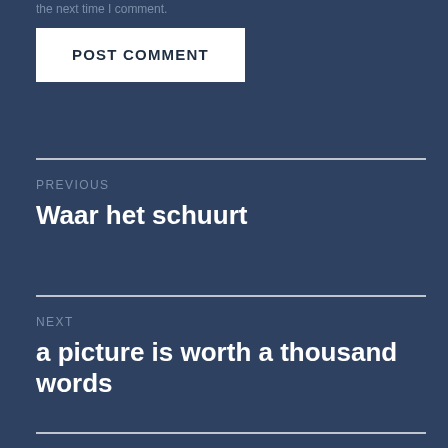the next time I comment.
POST COMMENT
PREVIOUS
Waar het schuurt
NEXT
a picture is worth a thousand words